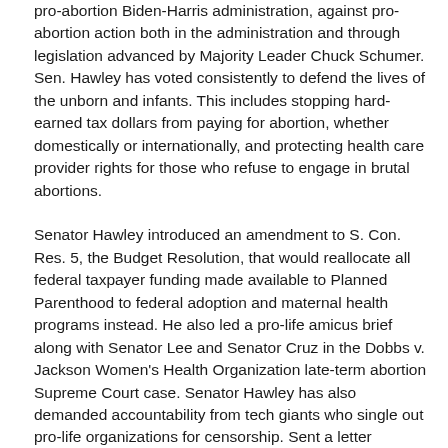pro-abortion Biden-Harris administration, against pro-abortion action both in the administration and through legislation advanced by Majority Leader Chuck Schumer. Sen. Hawley has voted consistently to defend the lives of the unborn and infants. This includes stopping hard-earned tax dollars from paying for abortion, whether domestically or internationally, and protecting health care provider rights for those who refuse to engage in brutal abortions.
Senator Hawley introduced an amendment to S. Con. Res. 5, the Budget Resolution, that would reallocate all federal taxpayer funding made available to Planned Parenthood to federal adoption and maternal health programs instead. He also led a pro-life amicus brief along with Senator Lee and Senator Cruz in the Dobbs v. Jackson Women's Health Organization late-term abortion Supreme Court case. Senator Hawley has also demanded accountability from tech giants who single out pro-life organizations for censorship. Sent a letter demanding that Google stop silencing pro-life views and reverse unjust censorship; hosted Mississippi Attorney General and pro-life leaders in senator briefings related to the SCOTUS late abortion case; sent letter to DOJ, HHS, and NIH, demanding investigation into unethical fetal tissue experimentation